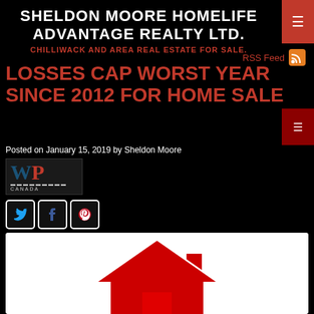SHELDON MOORE HOMELIFE ADVANTAGE REALTY LTD.
CHILLIWACK AND AREA REAL ESTATE FOR SALE.
RSS Feed
LOSSES CAP WORST YEAR SINCE 2012 FOR HOME SALES
Posted on January 15, 2019 by Sheldon Moore
[Figure (logo): WordPress Canada logo]
[Figure (illustration): Social media icons: Twitter, Facebook, Pinterest]
[Figure (photo): Red 3D house model on white background]